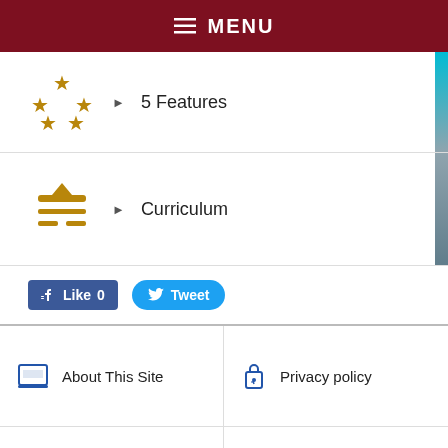MENU
5 Features
Curriculum
Like 0   Tweet
About This Site
Privacy policy
Contact and Access
Publications
Links
Site Map